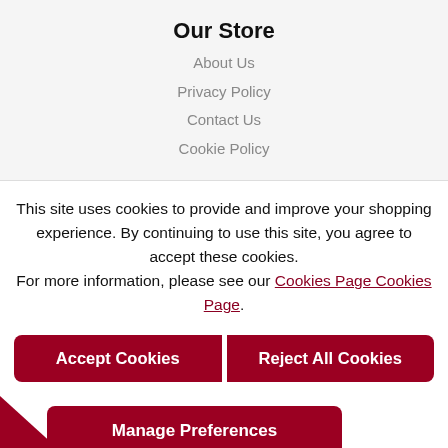Our Store
About Us
Privacy Policy
Contact Us
Cookie Policy
This site uses cookies to provide and improve your shopping experience. By continuing to use this site, you agree to accept these cookies.
For more information, please see our Cookies Page Cookies Page.
Accept Cookies
Reject All Cookies
Manage Preferences